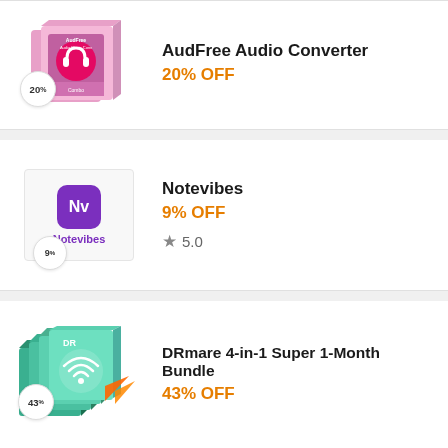[Figure (illustration): AudFree Audio Converter product box with pink/purple packaging and headphone icon, '20%' badge]
AudFree Audio Converter
20% OFF
[Figure (logo): Notevibes logo with purple 'Nv' icon and Notevibes label, '9%' badge]
Notevibes
9% OFF
★ 5.0
[Figure (illustration): DRmare 4-in-1 Super 1-Month Bundle product box stack with teal/green packaging, '43%' badge]
DRmare 4-in-1 Super 1-Month Bundle
43% OFF
[Figure (logo): Rev logo in red italic bold text with grey swoosh]
Rev Speech-to-Text Services